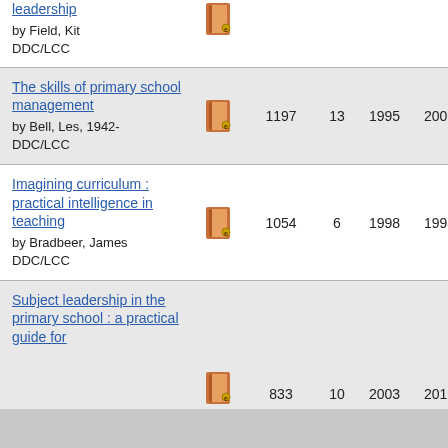| Title | Type | Holdings | Libraries | First | Last |
| --- | --- | --- | --- | --- | --- |
| [leadership] by Field, Kit DDC/LCC | ebook | ... | ... | ... | ... |
| The skills of primary school management by Bell, Les, 1942- DDC/LCC | ebook | 1197 | 13 | 1995 | 2002 |
| Imagining curriculum : practical intelligence in teaching by Bradbeer, James DDC/LCC | ebook | 1054 | 6 | 1998 | 1998 |
| Subject leadership in the primary school : a practical guide for by ... | ebook | 833 | 10 | 2003 | 2016 |